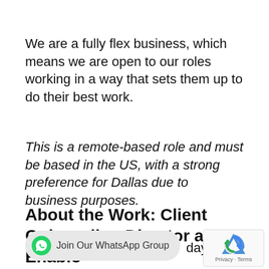We are a fully flex business, which means we are open to our roles working in a way that sets them up to do their best work.
This is a remote-based role and must be based in the US, with a strong preference for Dallas due to business purposes.
About the Work: Client Onboarding Director at Enablo
day to day: